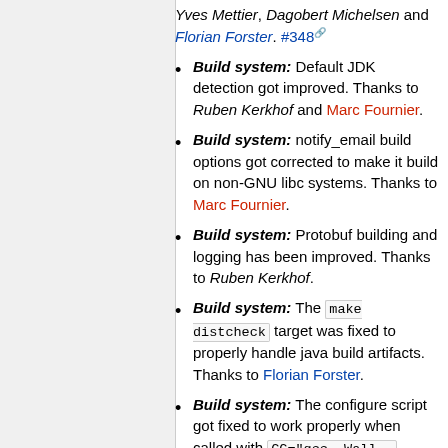Yves Mettier, Dagobert Michelsen and Florian Forster. #348
Build system: Default JDK detection got improved. Thanks to Ruben Kerkhof and Marc Fournier.
Build system: notify_email build options got corrected to make it build on non-GNU libc systems. Thanks to Marc Fournier.
Build system: Protobuf building and logging has been improved. Thanks to Ruben Kerkhof.
Build system: The make distcheck target was fixed to properly handle java build artifacts. Thanks to Florian Forster.
Build system: The configure script got fixed to work properly when called with CC="gcc -Wall -...